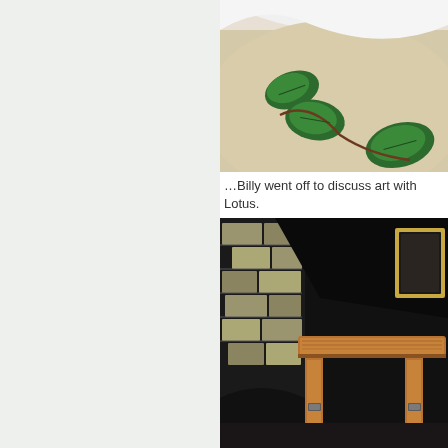[Figure (photo): Close-up photo of a painted or ceramic surface with green leaves on a beige/cream curved background, with white fabric visible at the top.]
…Billy went off to discuss art with Lotus.
[Figure (photo): Interior scene showing a wooden table/desk in front of a dark black wall with stone/brick arch visible on the left, and a framed picture on the right wall.]